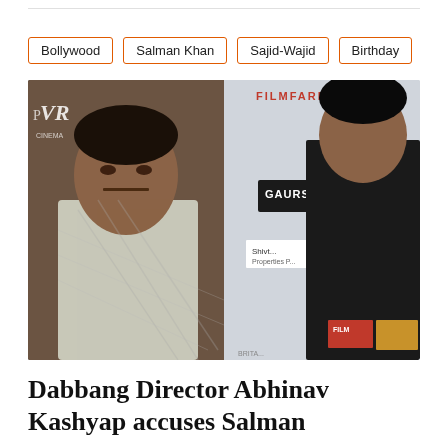Bollywood
Salman Khan
Sajid-Wajid
Birthday
[Figure (photo): Side-by-side photo of Dabbang director Abhinav Kashyap (left, in plaid shirt, at PVR event) and Salman Khan (right, in black shirt, at Filmfare event with GAURS and Shivt... Properties banners visible)]
Dabbang Director Abhinav Kashyap accuses Salman